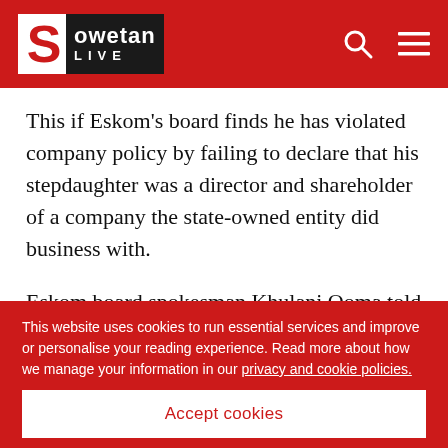Sowetan LIVE
This if Eskom's board finds he has violated company policy by failing to declare that his stepdaughter was a director and shareholder of a company the state-owned entity did business with.
Eskom board spokesman Khulani Qoma told Sowetan yesterday the board was gathering necessary
This website uses cookies to run essential services and improve or personalise your reading experience. Read more about how we manage your information in our privacy and cookie policies.
Accept cookies